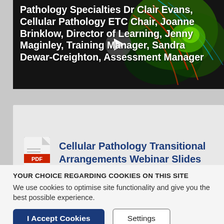[Figure (screenshot): Video thumbnail showing microscopy image of cells with colorful staining. Overlaid white bold text reads: 'Pathology Specialties Dr Clair Evans, Cellular Pathology ETC Chair, Joanne Brinklow, Director of Learning, Jenny Maginley, Training Manager, Sandra Dewar-Creighton, Assessment Manager'. A play button is visible in the center.]
Cellular Pathology Transitional Arrangements Webinar Slides
YOUR CHOICE REGARDING COOKIES ON THIS SITE
We use cookies to optimise site functionality and give you the best possible experience.